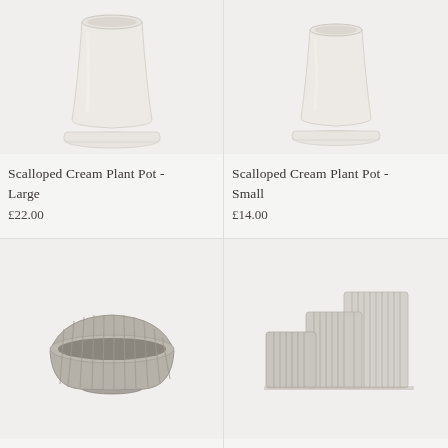[Figure (photo): Scalloped cream ceramic plant pot (large) with saucer, tapered shape, light cream/beige glaze, on light gray background]
Scalloped Cream Plant Pot - Large
£22.00
[Figure (photo): Scalloped cream ceramic plant pot (small) with saucer, tapered shape, light cream/beige glaze, on light gray background]
Scalloped Cream Plant Pot - Small
£14.00
[Figure (photo): Low wide ribbed gray ceramic bowl/plant pot with vertical ridges on exterior, on light gray background]
[Figure (photo): Set of three ribbed/textured light gray square/rectangular ceramic plant pots of varying heights on light gray background]